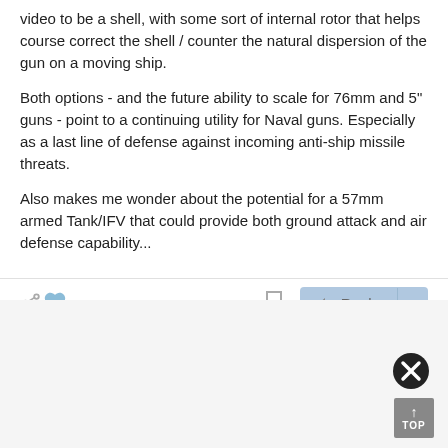video to be a shell, with some sort of internal rotor that helps course correct the shell / counter the natural dispersion of the gun on a moving ship.
Both options - and the future ability to scale for 76mm and 5" guns - point to a continuing utility for Naval guns. Especially as a last line of defense against incoming anti-ship missile threats.
Also makes me wonder about the potential for a 57mm armed Tank/IFV that could provide both ground attack and air defense capability...
[Figure (screenshot): Action bar with share icon, heart/like icon, bookmark icon, and a Reply button with dropdown arrow, on a light blue background]